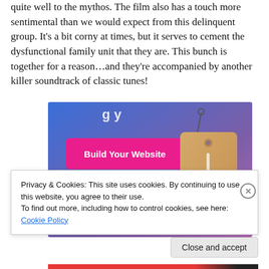quite well to the mythos. The film also has a touch more sentimental than we would expect from this delinquent group. It's a bit corny at times, but it serves to cement the dysfunctional family unit that they are. This bunch is together for a reason…and they're accompanied by another killer soundtrack of classic tunes!
[Figure (screenshot): Advertisement banner with blue-purple gradient background, pink 'Build Your Website' button on left, and a tan price tag hanging on the right.]
Privacy & Cookies: This site uses cookies. By continuing to use this website, you agree to their use.
To find out more, including how to control cookies, see here: Cookie Policy
Close and accept